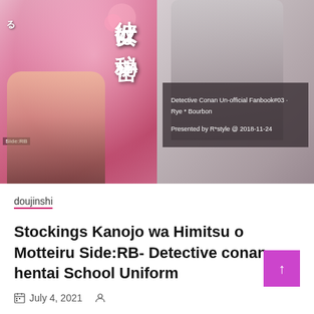[Figure (illustration): Anime/manga style doujinshi cover image split into two panels. Left panel shows colorful illustration of a female anime character with pink floral background and Japanese text. Right panel shows grayscale illustration of a male anime character. An info box overlay on the right panel reads: 'Detective Conan Un-official Fanbook#03 · Rye * Bourbon' and 'Presented by R*style @ 2018-11-24'.]
doujinshi
Stockings Kanojo wa Himitsu o Motteiru Side:RB- Detective conan hentai School Uniform
July 4, 2021